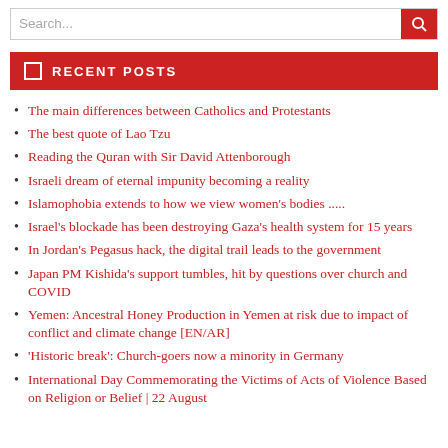Search...
RECENT POSTS
The main differences between Catholics and Protestants
The best quote of Lao Tzu
Reading the Quran with Sir David Attenborough
Israeli dream of eternal impunity becoming a reality
Islamophobia extends to how we view women's bodies .....
Israel's blockade has been destroying Gaza's health system for 15 years
In Jordan's Pegasus hack, the digital trail leads to the government
Japan PM Kishida's support tumbles, hit by questions over church and COVID
Yemen: Ancestral Honey Production in Yemen at risk due to impact of conflict and climate change [EN/AR]
'Historic break': Church-goers now a minority in Germany
International Day Commemorating the Victims of Acts of Violence Based on Religion or Belief | 22 August